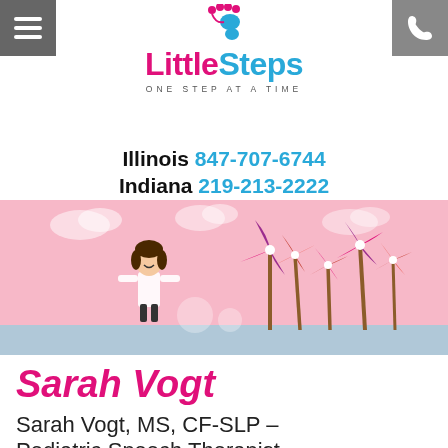Little Steps — ONE STEP AT A TIME
Illinois 847-707-6744
Indiana 219-213-2222
[Figure (illustration): Pink background banner illustration with a cartoon girl and colorful pinwheel flowers]
Sarah Vogt
Sarah Vogt, MS, CF-SLP – Pediatric Speech Therapist